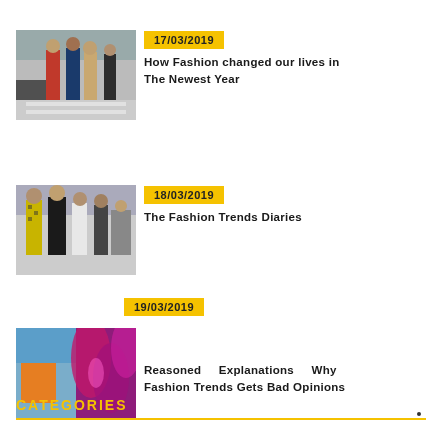17/03/2019
How Fashion changed our lives in The Newest Year
[Figure (photo): Street fashion photo with people walking]
18/03/2019
The Fashion Trends Diaries
[Figure (photo): Fashion street style photo]
19/03/2019
Reasoned Explanations Why Fashion Trends Gets Bad Opinions
[Figure (photo): Fashion photo with colorful clothing]
CATEGORIES